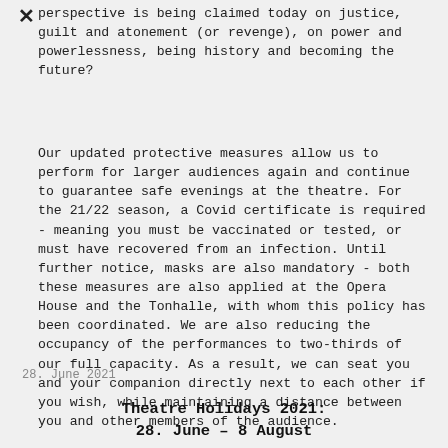perspective is being claimed today on justice, guilt and atonement (or revenge), on power and powerlessness, being history and becoming the future?
Our updated protective measures allow us to perform for larger audiences again and continue to guarantee safe evenings at the theatre. For the 21/22 season, a Covid certificate is required - meaning you must be vaccinated or tested, or must have recovered from an infection. Until further notice, masks are also mandatory - both these measures are also applied at the Opera House and the Tonhalle, with whom this policy has been coordinated. We are also reducing the occupancy of the performances to two-thirds of our full capacity. As a result, we can seat you and your companion directly next to each other if you wish, while maintaining a distance between you and other members of the audience.
28. June 2021
Theatre Holidays 2021:
28. June – 8 August